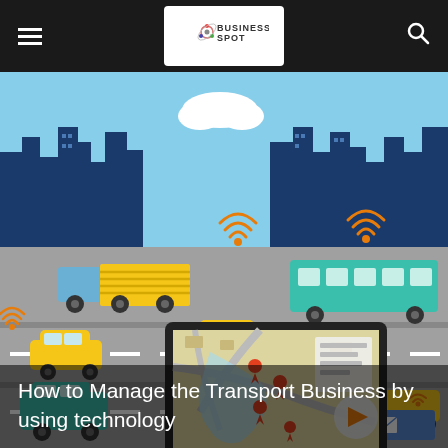Business Spot (navigation bar with logo, hamburger menu, and search icon)
[Figure (illustration): Illustration of a smart transport/traffic scene with connected vehicles (trucks, cars, buses, vans) on a road, animated WiFi/signal icons above vehicles, a city skyline silhouette in the background, a GPS/map screen (laptop monitor) in the foreground showing location pins, and a delivery van with envelope icon. Sky is light blue with a white cloud.]
How to Manage the Transport Business by using technology